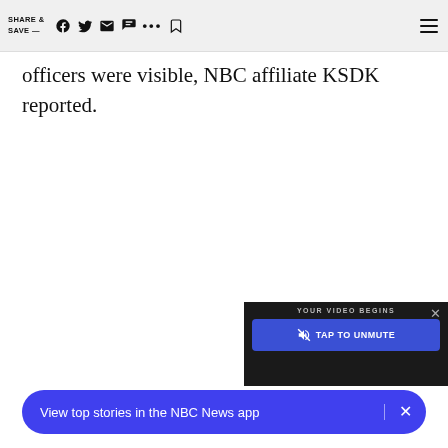SHARE & SAVE — [facebook] [twitter] [email] [message] [...] [bookmark] [menu]
officers were visible, NBC affiliate KSDK reported.
[Figure (screenshot): Video player overlay with 'YOUR VIDEO BEGINS' text, TAP TO UNMUTE button in blue, and a close X button]
View top stories in the NBC News app